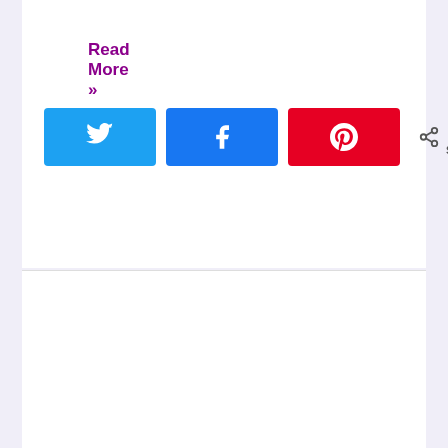Read More »
[Figure (infographic): Social share buttons row: Twitter (blue), Facebook (dark blue), Pinterest (red), and a share count showing 0 SHARES]